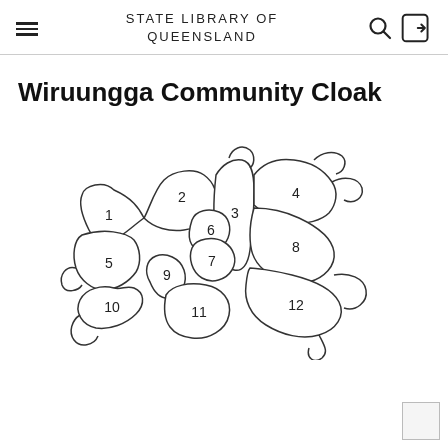STATE LIBRARY OF QUEENSLAND
Wiruungga Community Cloak
[Figure (map): A hand-drawn outline map divided into 12 numbered regions/sections representing the Wiruungga Community Cloak. The sections are labeled 1-12 and arranged in an irregular puzzle-like pattern.]